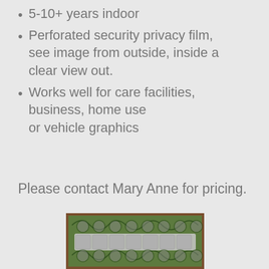5-10+ years indoor
Perforated security privacy film, see image from outside, inside a clear view out.
Works well for care facilities, business, home use or vehicle graphics
Please contact Mary Anne for pricing.
[Figure (photo): Photo of a decorative perforated window film applied to a framed glass panel, showing a stained-glass-like pattern with circles and swirls in green and dark tones, with lighter rectangular sections visible through the film.]